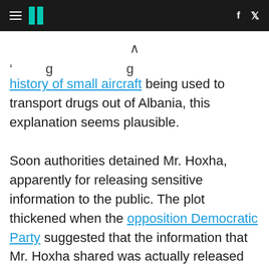HuffPost header with hamburger menu, logo, and social icons (f, Twitter)
history of small aircraft being used to transport drugs out of Albania, this explanation seems plausible.
Soon authorities detained Mr. Hoxha, apparently for releasing sensitive information to the public. The plot thickened when the opposition Democratic Party suggested that the information that Mr. Hoxha shared was actually released by Interior Minister Tahiri as a ploy to "compromise the investigation" and cover-up the nefarious acts of the drug traffickers.